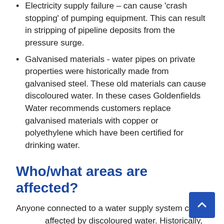Electricity supply failure – can cause 'crash stopping' of pumping equipment. This can result in stripping of pipeline deposits from the pressure surge.
Galvanised materials - water pipes on private properties were historically made from galvanised steel. These old materials can cause discoloured water. In these cases Goldenfields Water recommends customers replace galvanised materials with copper or polyethylene which have been certified for drinking water.
Who/what areas are affected?
Anyone connected to a water supply system can be affected by discoloured water. Historically, Goldenfields Water experiences an increase in